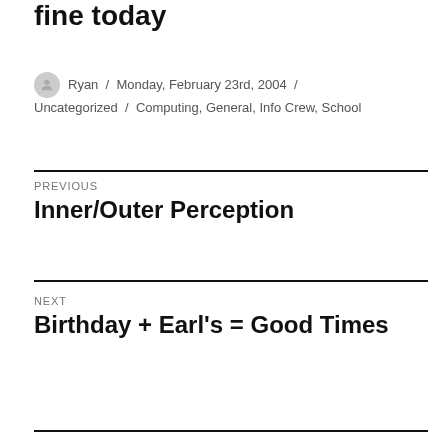fine today
Ryan / Monday, February 23rd, 2004 / Uncategorized / Computing, General, Info Crew, School
PREVIOUS
Inner/Outer Perception
NEXT
Birthday + Earl's = Good Times